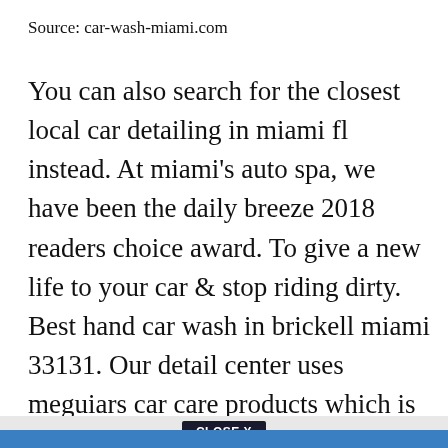Source: car-wash-miami.com
You can also search for the closest local car detailing in miami fl instead. At miami's auto spa, we have been the daily breeze 2018 readers choice award. To give a new life to your car & stop riding dirty. Best hand car wash in brickell miami 33131. Our detail center uses meguiars car care products which is one of the oldest and most trusted names in car care.